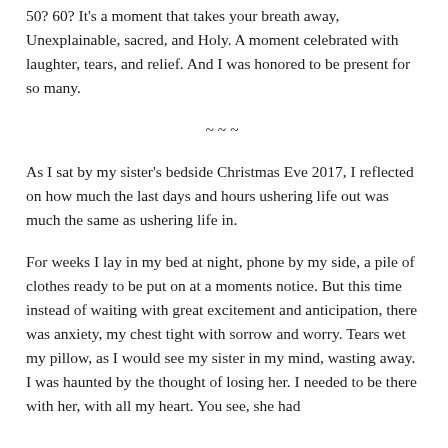50? 60? It's a moment that takes your breath away, Unexplainable, sacred, and Holy. A moment celebrated with laughter, tears, and relief. And I was honored to be present for so many.
~~~
As I sat by my sister's bedside Christmas Eve 2017, I reflected on how much the last days and hours ushering life out was much the same as ushering life in.
For weeks I lay in my bed at night, phone by my side, a pile of clothes ready to be put on at a moments notice. But this time instead of waiting with great excitement and anticipation, there was anxiety, my chest tight with sorrow and worry. Tears wet my pillow, as I would see my sister in my mind, wasting away. I was haunted by the thought of losing her. I needed to be there with her, with all my heart. You see, she had